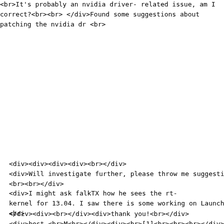</div><br>It's probably an nvidia driver-related issue, am I correct?<br><br>
</div>Found some suggestions about patching the nvidia dr
<br>
<div><div><div><div><br></div>
<div>Will investigate further, please throw me suggestion
<br><br></div>
<div>I might ask falkTX how he sees the rt-kernel for 13.04. I saw there is some working on Launchpa
<br>
</div><div><br></div><div>thank you!<br></div>
<div>best,<br>M<br></div><div><br>[1]<br><br><br></div>